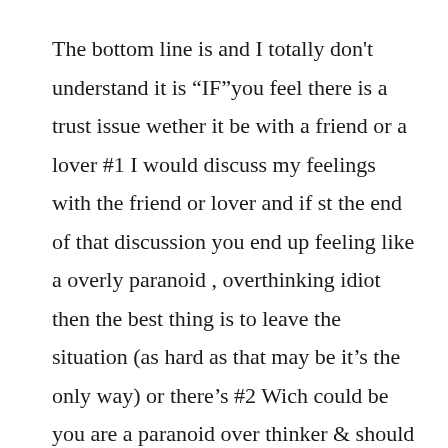The bottom line is and I totally don't understand it is “IF”you feel there is a trust issue wether it be with a friend or a lover #1 I would discuss my feelings with the friend or lover and if st the end of that discussion you end up feeling like a overly paranoid , overthinking idiot then the best thing is to leave the situation (as hard as that may be it’s the only way) or there’s #2 Wich could be you are a paranoid over thinker & should seek some sort of counseling soon because through my 53 years on this earth and having seen many strained relationships in my